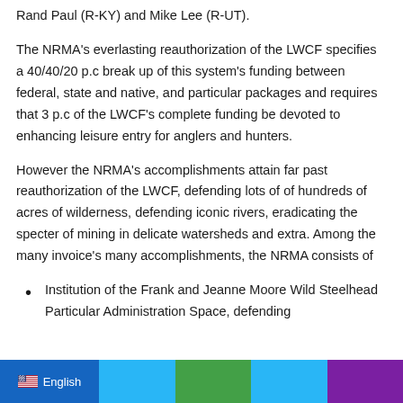Rand Paul (R-KY) and Mike Lee (R-UT).
The NRMA's everlasting reauthorization of the LWCF specifies a 40/40/20 p.c break up of this system's funding between federal, state and native, and particular packages and requires that 3 p.c of the LWCF's complete funding be devoted to enhancing leisure entry for anglers and hunters.
However the NRMA's accomplishments attain far past reauthorization of the LWCF, defending lots of of hundreds of acres of wilderness, defending iconic rivers, eradicating the specter of mining in delicate watersheds and extra. Among the many invoice's many accomplishments, the NRMA consists of
Institution of the Frank and Jeanne Moore Wild Steelhead Particular Administration Space, defending
English